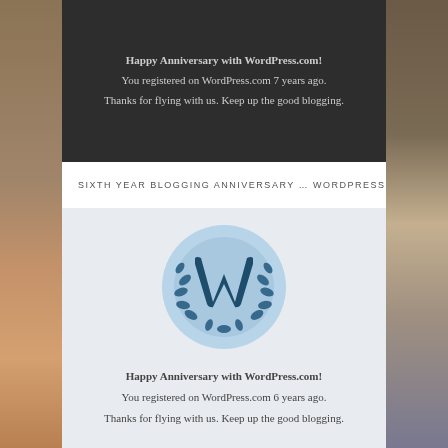[Figure (illustration): WordPress anniversary notification card with dark background showing text about 7 years registration anniversary]
Happy Anniversary with WordPress.com!
You registered on WordPress.com 7 years ago.
Thanks for flying with us. Keep up the good blogging.
SIXTH YEAR BLOGGING ANNIVERSARY ... WORDPRESS
[Figure (illustration): WordPress anniversary badge with light blue circle containing WordPress W logo with laurel wreath, on light gray background]
Happy Anniversary with WordPress.com!
You registered on WordPress.com 6 years ago.
Thanks for flying with us. Keep up the good blogging.